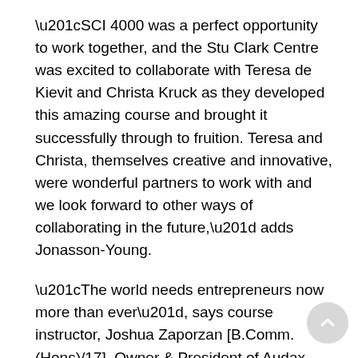“SCI 4000 was a perfect opportunity to work together, and the Stu Clark Centre was excited to collaborate with Teresa de Kievit and Christa Kruck as they developed this amazing course and brought it successfully through to fruition. Teresa and Christa, themselves creative and innovative, were wonderful partners to work with and we look forward to other ways of collaborating in the future,” adds Jonasson-Young.
“The world needs entrepreneurs now more than ever”, says course instructor, Joshua Zaporzan [B.Comm. (Hons)/17], Owner & President of Audax Ventures. “The introductory skill sets learned in this course are those that will help build creative thinkers, innovative leaders, and change-makers in our community. The Stu Clark Centre is excited to continue to help support our entrepreneurial ecosystem and further spark entrepreneurial spirit across